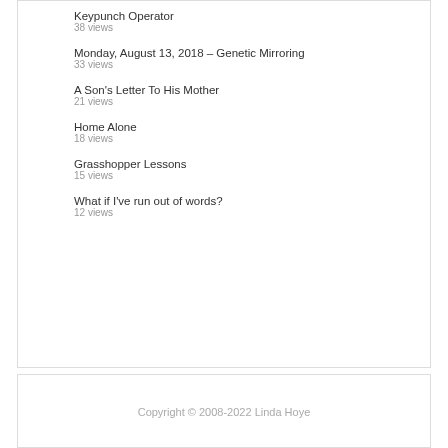Keypunch Operator
38 views
Monday, August 13, 2018 – Genetic Mirroring
33 views
A Son's Letter To His Mother
21 views
Home Alone
18 views
Grasshopper Lessons
15 views
What if I've run out of words?
12 views
Copyright © 2008-2022 Linda Hoye